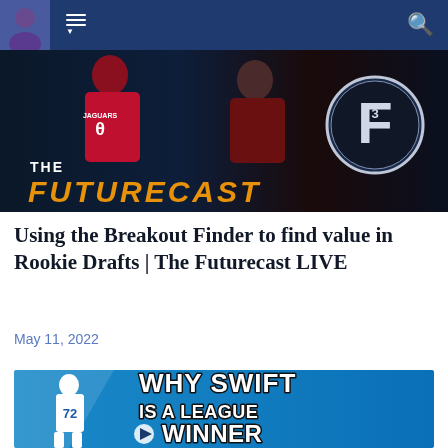Navigation bar with avatar, menu icon, and search icon
[Figure (illustration): The Futurecast banner showing football players in Jaguars jersey and another jersey, with 'THE FUTURECAST' text in white and orange, and an F logo circle on the right]
Using the Breakout Finder to find value in Rookie Drafts | The Futurecast LIVE
May 11, 2022
[Figure (photo): Thumbnail showing a football player in Detroit Lions white uniform (#72) on a blue background with text 'WHY SWIFT IS A LEAGUE WINNER' with a play button overlay]